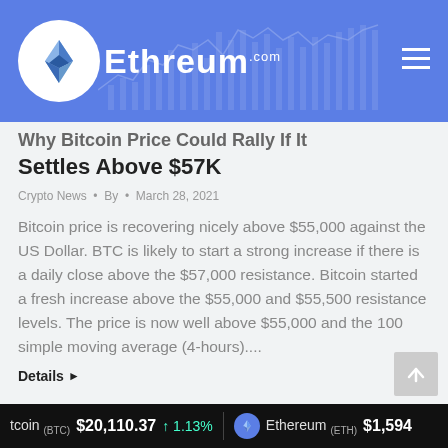Ethreum.com
Why Bitcoin Price Could Rally If It Settles Above $57K
Crypto News • By • March 28, 2021
Bitcoin price is recovering nicely above $55,000 against the US Dollar. BTC is likely to start a strong increase if there is a daily close above the $57,000 resistance. Bitcoin started a fresh increase above the $55,000 and $55,500 resistance levels. The price is now well above $55,000 and the 100 simple moving average (4-hours)....
Details ▶
tcoin (BTC) $20,110.37 ↑ 1.13% Ethereum (ETH) $1,594